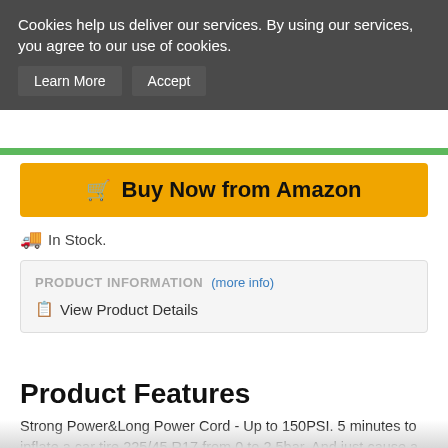Cookies help us deliver our services. By using our services, you agree to our use of cookies.
Learn More   Accept
🛒 Buy Now from Amazon
🚚 In Stock.
PRODUCT INFORMATION (more info)
☰ View Product Details
Product Features
Strong Power&Long Power Cord - Up to 150PSI. 5 minutes to inflate a car tire 225/45 R17 from 0 to 2.5bar. And just cause a little sound but comfortable. Oasser portable air compressor pump provides a 3.5m power cord that connects into the cigarette lighter which is suitable for most small and medium sized cars, SUV